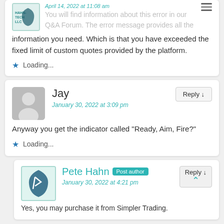You will find information about this error in our Q&A Forum. The error message provides all the information you need. Which is that you have exceeded the fixed limit of custom quotes provided by the platform.
Loading...
Jay
January 30, 2022 at 3:09 pm
Anyway you get the indicator called "Ready, Aim, Fire?"
Loading...
Pete Hahn
Post author
January 30, 2022 at 4:21 pm
Yes, you may purchase it from Simpler Trading.